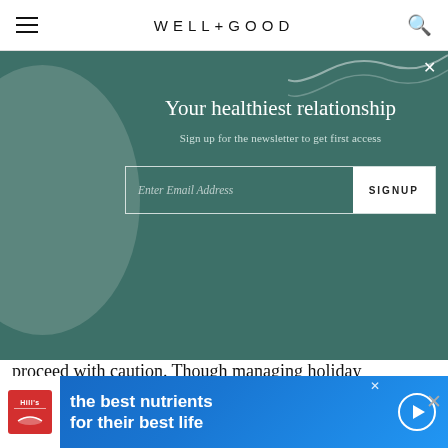WELL+GOOD
[Figure (screenshot): Newsletter signup overlay on teal/dark green background with decorative circle and wavy line. Title: 'Your healthiest relationship'. Subtitle: 'Sign up for the newsletter to get first access'. Email input field with SIGNUP button.]
proceed with caution. Though managing holiday boundaries related to the pandemic may not be easy, it's essential that you do what provides you with peace and safety. To keep your celebration COVID free, mandate COVID testing for all those visiting your home and minimize your gathering, only inviting a
[Figure (infographic): Hill's pet nutrition advertisement banner. Blue gradient background. Logo on white background on left. Text: 'the best nutrients for their best life'. Play button circle on right. Close X button.]